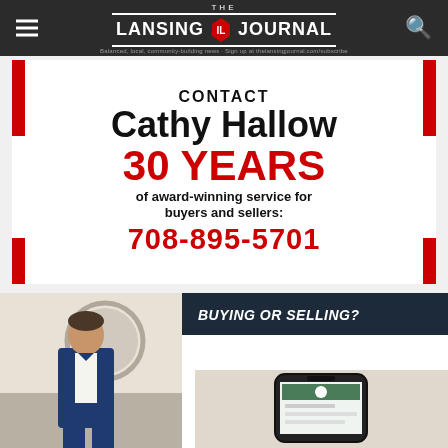THE LANSING JOURNAL
[Figure (infographic): Advertisement: CONTACT Cathy Hallow — 30 YEARS of award-winning service for buyers and sellers: 708-895-5701. White background with red corner bracket decorations.]
[Figure (photo): Man in blue suit standing in front of a circular mirror in a room. Advertisement for real estate agent.]
[Figure (infographic): Dark navy background text: BUYING OR SELLING? YOU DESERVE THE BEST.]
[Figure (photo): Partial view of a smartphone showing a real estate app or listing.]